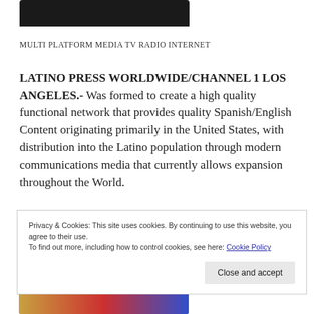[Figure (photo): Dark/black rectangular image at top, partially visible]
MULTI PLATFORM MEDIA TV RADIO INTERNET
LATINO PRESS WORLDWIDE/CHANNEL 1 LOS ANGELES.- Was formed to create a high quality functional network that provides quality Spanish/English Content originating primarily in the United States, with distribution into the Latino population through modern communications media that currently allows expansion throughout the World.
Privacy & Cookies: This site uses cookies. By continuing to use this website, you agree to their use.
To find out more, including how to control cookies, see here: Cookie Policy
Close and accept
[Figure (photo): Colorful image at the bottom, partially visible]